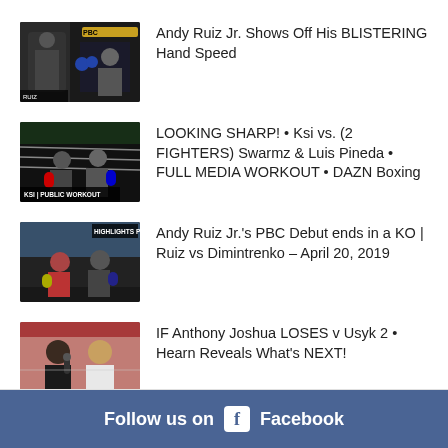[Figure (screenshot): Thumbnail of Andy Ruiz Jr. boxing training showing hand speed drill]
Andy Ruiz Jr. Shows Off His BLISTERING Hand Speed
[Figure (screenshot): Thumbnail showing KSI public workout with fighters sparring, text reads KSI PUBLIC WORKOUT]
LOOKING SHARP! • Ksi vs. (2 FIGHTERS) Swarmz & Luis Pineda • FULL MEDIA WORKOUT • DAZN Boxing
[Figure (screenshot): Thumbnail showing boxing fight highlights PBC, Ruiz vs Dimintrenko]
Andy Ruiz Jr.'s PBC Debut ends in a KO | Ruiz vs Dimintrenko – April 20, 2019
[Figure (screenshot): Thumbnail showing Anthony Joshua interview at boxing event]
IF Anthony Joshua LOSES v Usyk 2 • Hearn Reveals What's NEXT!
Follow us on Facebook